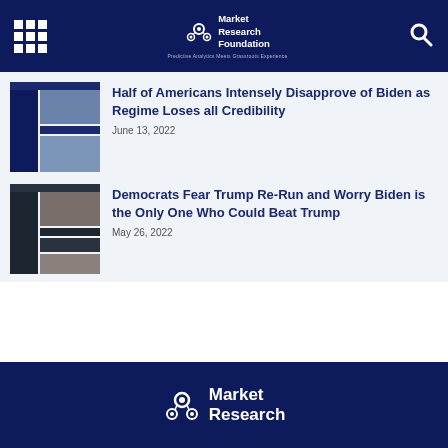Market Research Foundation — Predictive Analytics Meets Grassroots Experience
[Figure (illustration): Placeholder bar chart thumbnail for first article]
Half of Americans Intensely Disapprove of Biden as Regime Loses all Credibility
June 13, 2022
[Figure (illustration): Placeholder bar chart thumbnail for second article]
Democrats Fear Trump Re-Run and Worry Biden is the Only One Who Could Beat Trump
May 26, 2022
Market Research